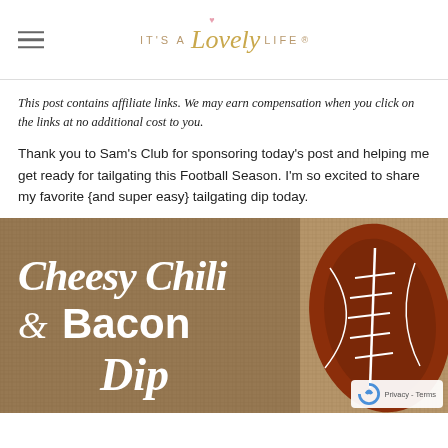IT'S A Lovely LIFE
This post contains affiliate links. We may earn compensation when you click on the links at no additional cost to you.
Thank you to Sam’s Club for sponsoring today’s post and helping me get ready for tailgating this Football Season. I’m so excited to share my favorite {and super easy} tailgating dip today.
[Figure (photo): Photo with text overlay reading 'Cheesy Chili & Bacon Dip' in white lettering on a rustic burlap background with a football visible on the right side.]